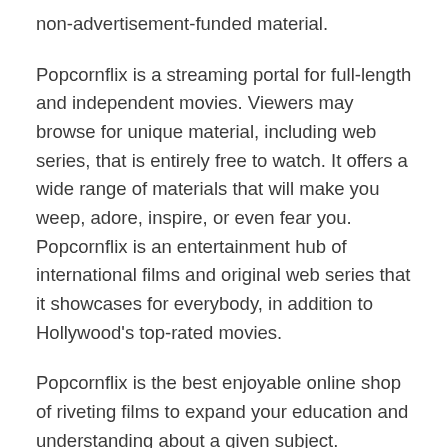non-advertisement-funded material.
Popcornflix is a streaming portal for full-length and independent movies. Viewers may browse for unique material, including web series, that is entirely free to watch. It offers a wide range of materials that will make you weep, adore, inspire, or even fear you. Popcornflix is an entertainment hub of international films and original web series that it showcases for everybody, in addition to Hollywood’s top-rated movies.
Popcornflix is the best enjoyable online shop of riveting films to expand your education and understanding about a given subject. Unfortunately, however, there is virtually little stuff available here.